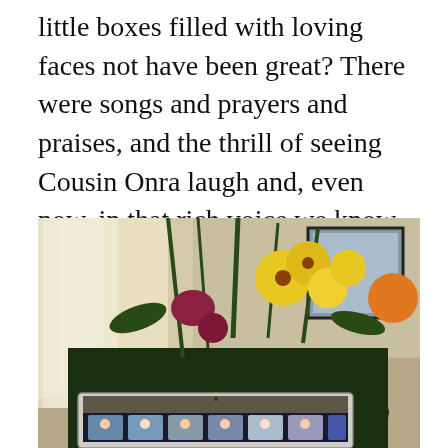little boxes filled with loving faces not have been great? There were songs and prayers and praises, and the thrill of seeing Cousin Onra laugh and, even now, in that rich voice we know so well, say a few words.
[Figure (photo): A large flower arrangement with yellow, orange, and red flowers displayed on a table in front of a window with lace curtains. In the foreground, a laptop computer shows a video call with several small participant thumbnails visible at the bottom of the screen.]